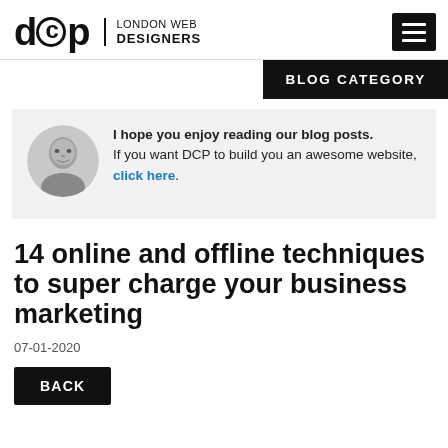dcp | LONDON WEB DESIGNERS
BLOG CATEGORY
[Figure (photo): Circular avatar photo of a man in grayscale, used in a promotional blog box on a light gray background.]
I hope you enjoy reading our blog posts. If you want DCP to build you an awesome website, click here.
14 online and offline techniques to super charge your business marketing
07-01-2020
BACK